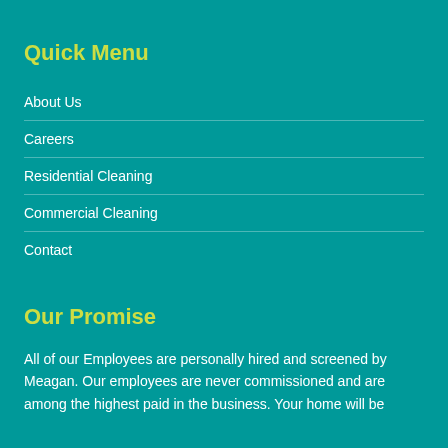Quick Menu
About Us
Careers
Residential Cleaning
Commercial Cleaning
Contact
Our Promise
All of our Employees are personally hired and screened by Meagan. Our employees are never commissioned and are among the highest paid in the business. Your home will be